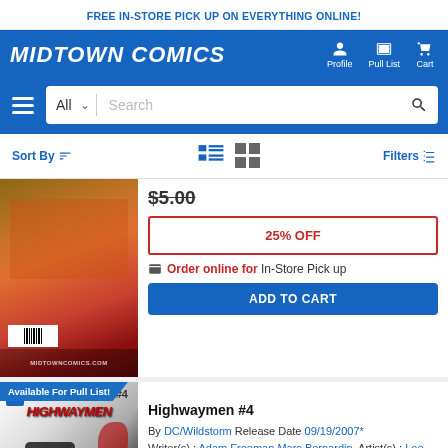FREE IN-STORE PICK UP ON EVERYTHING ONLINE!
[Figure (logo): Midtown Comics website header with logo, Profile, Pull List, and Cart icons]
[Figure (screenshot): Search bar with All dropdown and Search input]
Sort By | Filters
[Figure (photo): Comic book cover (partially visible) — red/orange tones]
$5.00
25% OFF
Order online for In-Store Pick up
ADD TO CART
Available For Pull List!
Highwaymen #4
By DC/Wildstorm Release Date 09/19/2007* Writer(s) : Adam Freeman Marc Bernardin Artist(s) : Lee Garbett
Fine - $2.02